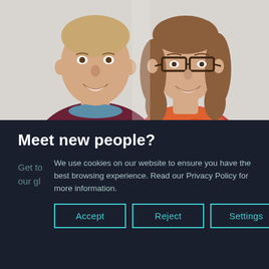[Figure (photo): Two smiling people (a man and a woman with glasses) posing together against a white background. The man wears a dark red sweater, the woman wears a colorful floral scarf.]
Meet new people?
Get to
our gl
We use cookies on our website to ensure you have the best browsing experience. Read our Privacy Policy for more information.
Accept
Reject
Settings